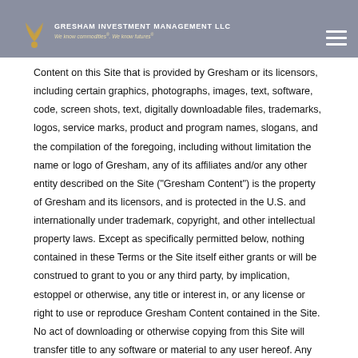these Terms. GRESHAM INVESTMENT MANAGEMENT LLC We know commodities®. We know futures®
Content on this Site that is provided by Gresham or its licensors, including certain graphics, photographs, images, text, software, code, screen shots, text, digitally downloadable files, trademarks, logos, service marks, product and program names, slogans, and the compilation of the foregoing, including without limitation the name or logo of Gresham, any of its affiliates and/or any other entity described on the Site ("Gresham Content") is the property of Gresham and its licensors, and is protected in the U.S. and internationally under trademark, copyright, and other intellectual property laws. Except as specifically permitted below, nothing contained in these Terms or the Site itself either grants or will be construed to grant to you or any third party, by implication, estoppel or otherwise, any title or interest in, or any license or right to use or reproduce Gresham Content contained in the Site. No act of downloading or otherwise copying from this Site will transfer title to any software or material to any user hereof. Any data that you